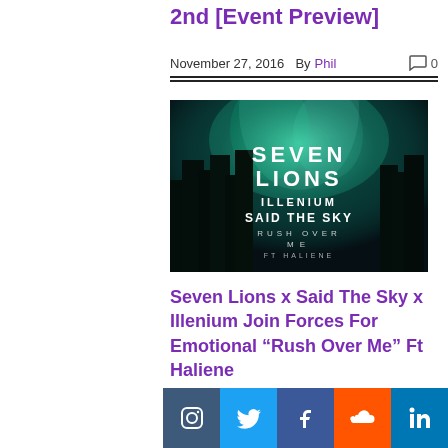2nd [Event Preview]
November 27, 2016  By Phil   0
[Figure (photo): Seven Lions x Illenium x Said The Sky - Rush Over Me ft Haliene album/event artwork showing dark forest with aurora borealis and artist names]
Seven Lions x Said The Sky x Illenium Join Forces For Emotional “Rush Over Me” Ft Haliene
October 10, 2016  By Phil